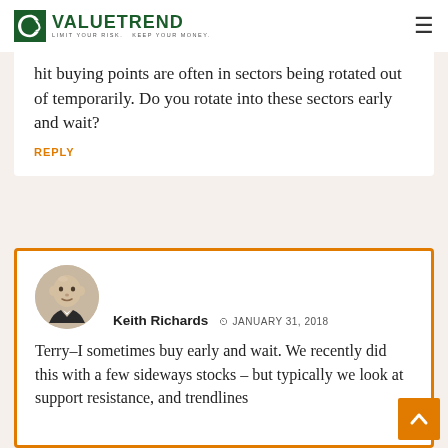ValueTrend — Limit Your Risk. Keep Your Money.
hit buying points are often in sectors being rotated out of temporarily. Do you rotate into these sectors early and wait?
REPLY
Keith Richards   JANUARY 31, 2018
Terry–I sometimes buy early and wait. We recently did this with a few sideways stocks – but typically we look at support resistance, and trendlines